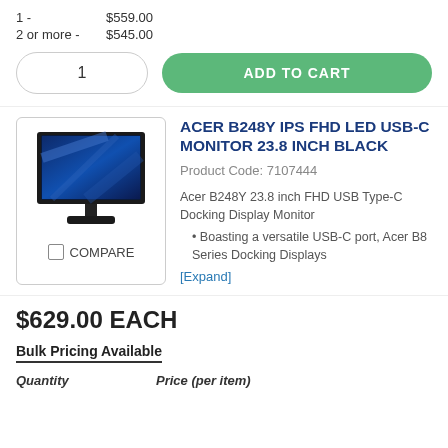1 - $559.00
2 or more - $545.00
1 | ADD TO CART
[Figure (photo): Acer B248Y monitor product image showing a 23.8 inch black monitor with stand]
ACER B248Y IPS FHD LED USB-C MONITOR 23.8 INCH BLACK
Product Code: 7107444
Acer B248Y 23.8 inch FHD USB Type-C Docking Display Monitor
Boasting a versatile USB-C port, Acer B8 Series Docking Displays
[Expand]
$629.00 EACH
Bulk Pricing Available
Quantity   Price (per item)